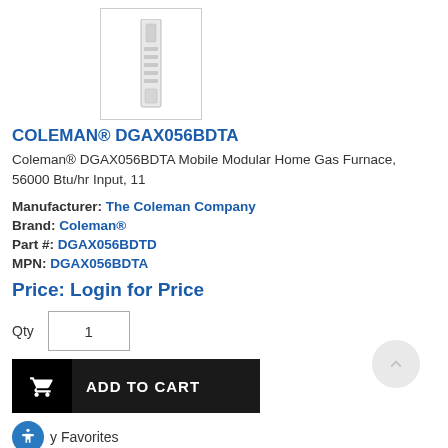[Figure (photo): Product image of a white vertical furnace unit inside a bordered box]
COLEMAN® DGAX056BDTA
Coleman® DGAX056BDTA Mobile Modular Home Gas Furnace, 56000 Btu/hr Input, 11
Manufacturer: The Coleman Company
Brand: Coleman®
Part #: DGAX056BDTD
MPN: DGAX056BDTA
Price: Login for Price
Qty  1
ADD TO CART
y Favorites